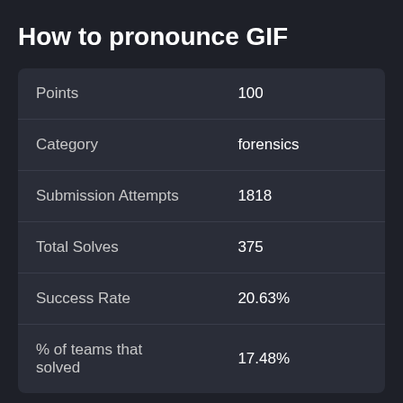How to pronounce GIF
|  |  |
| --- | --- |
| Points | 100 |
| Category | forensics |
| Submission Attempts | 1818 |
| Total Solves | 375 |
| Success Rate | 20.63% |
| % of teams that solved | 17.48% |